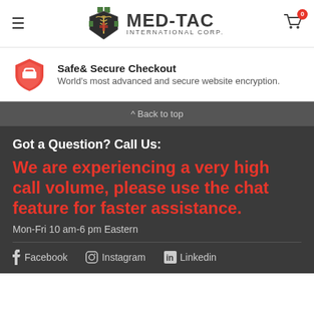MED-TAC INTERNATIONAL CORP.
Safe& Secure Checkout
World's most advanced and secure website encryption.
^ Back to top
Got a Question? Call Us:
We are experiencing a very high call volume, please use the chat feature for faster assistance.
Mon-Fri 10 am-6 pm Eastern
Facebook    Instagram    Linkedin